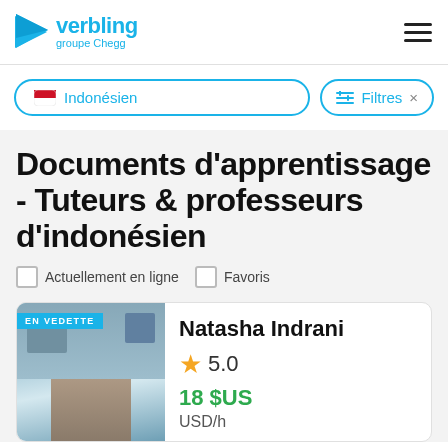[Figure (logo): Verbling groupe Chegg logo with blue triangle arrow icon]
Indonésien
Filtres ×
Documents d'apprentissage - Tuteurs & professeurs d'indonésien
Actuellement en ligne   Favoris
[Figure (photo): EN VEDETTE badge over photo of young woman outdoors near building]
Natasha Indrani
5.0
18 $US
USD/h